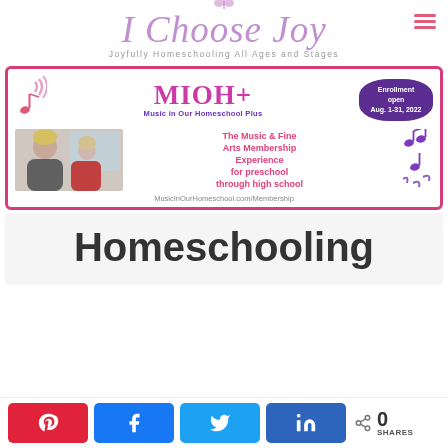I Choose Joy — Joyfully Homeschooling All Ages and Stages
[Figure (infographic): MIOH+ Music in Our Homeschool Plus advertisement banner. Shows 'MIOH+' in large purple/pink text, 'Music in Our Homeschool Plus' subtitle, an enrollment oval stating 'Enrollment open Aug. 1-31, 2022', a photo of two females (woman and girl), and text 'The Music & Fine Arts Membership Experience for preschool through high school'. URL: MusicInOurHomeschool.com/Membership]
Homeschooling
0 SHARES